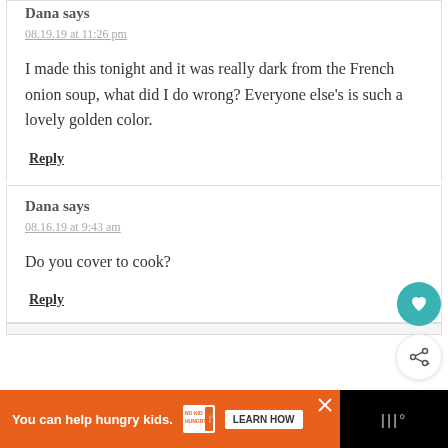Dana says
08.19.19 at 11:26 pm
I made this tonight and it was really dark from the French onion soup, what did I do wrong? Everyone else's is such a lovely golden color.
Reply
Dana says
08.16.19 at 9:43 am
Do you cover to cook?
Reply
You can help hungry kids.
LEARN HOW